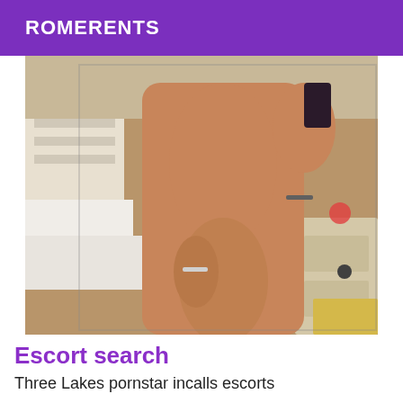ROMERENTS
[Figure (photo): Mirror selfie photo of a person in a bedroom setting]
Escort search
Three Lakes pornstar incalls escorts